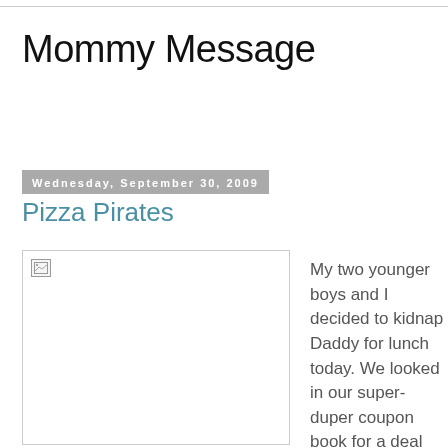Mommy Message
Wednesday, September 30, 2009
Pizza Pirates
[Figure (photo): Broken/missing image placeholder in a bordered box]
My two younger boys and I decided to kidnap Daddy for lunch today. We looked in our super-duper coupon book for a deal and we settled on a trip to the local pizza buffet